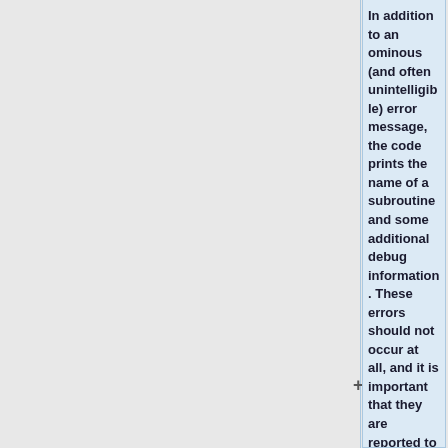In addition to an ominous (and often unintelligible) error message, the code prints the name of a subroutine and some additional debug information. These errors should not occur at all, and it is important that they are reported to the Serpent developer team (preferably by writing to the [//ttuki.vtt.fi/serpent Serpent